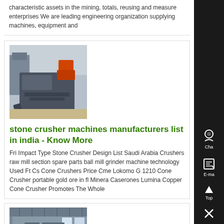characteristic assets in the mining, totals, reusing and measure enterprises We are leading engineering organization supplying machines, equipment and
[Figure (photo): Stone crusher machine in a factory/warehouse setting with heavy machinery equipment]
stone crusher machines manufacturers list in india - Know More
Fri Impact Type Stone Crusher Design List Saudi Arabia Crushers raw mill section spare parts ball mill grinder machine technology Used Ft Cs Cone Crushers Price Cme Lokomo G 1210 Cone Crusher portable gold ore in fl Minera Caserones Lumina Copper Cone Crusher Promotes The Whole
[Figure (photo): Factory interior with industrial equipment and large open warehouse space]